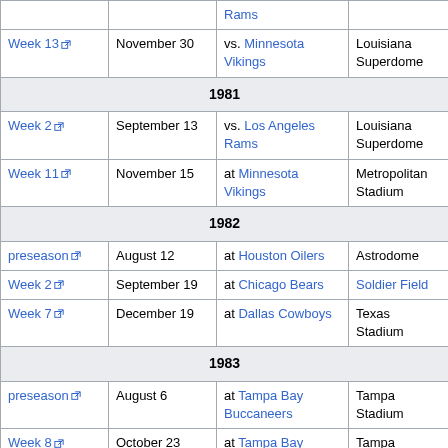| Week | Date | Opponent | Venue |
| --- | --- | --- | --- |
| (Rams) |  |  |  |
| Week 13 | November 30 | vs. Minnesota Vikings | Louisiana Superdome |
| 1981 |  |  |  |
| Week 2 | September 13 | vs. Los Angeles Rams | Louisiana Superdome |
| Week 11 | November 15 | at Minnesota Vikings | Metropolitan Stadium |
| 1982 |  |  |  |
| preseason | August 12 | at Houston Oilers | Astrodome |
| Week 2 | September 19 | at Chicago Bears | Soldier Field |
| Week 7 | December 19 | at Dallas Cowboys | Texas Stadium |
| 1983 |  |  |  |
| preseason | August 6 | at Tampa Bay Buccaneers | Tampa Stadium |
| Week 8 | October 23 | at Tampa Bay Buccaneers | Tampa Stadium |
| Week 11 | November 13 | at San Francisco 49ers | Candlestick Park |